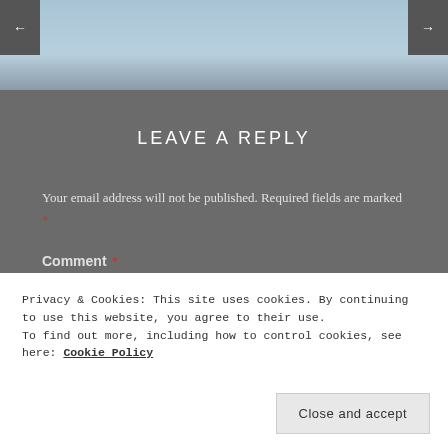[Figure (screenshot): Light blue-grey gradient banner header area at the top of the page]
← →
LEAVE A REPLY
Your email address will not be published. Required fields are marked *
Comment *
Privacy & Cookies: This site uses cookies. By continuing to use this website, you agree to their use.
To find out more, including how to control cookies, see here: Cookie Policy
Close and accept